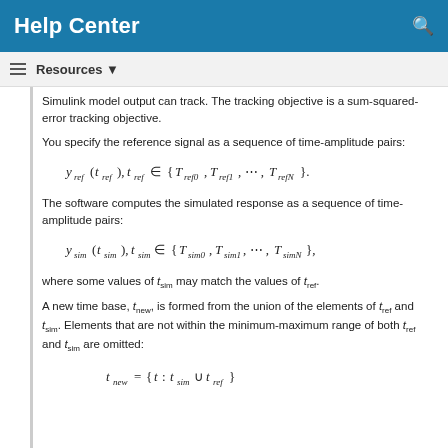Help Center
Simulink model output can track. The tracking objective is a sum-squared-error tracking objective.
You specify the reference signal as a sequence of time-amplitude pairs:
The software computes the simulated response as a sequence of time-amplitude pairs:
where some values of t_sim may match the values of t_ref.
A new time base, t_new, is formed from the union of the elements of t_ref and t_sim. Elements that are not within the minimum-maximum range of both t_ref and t_sim are omitted: